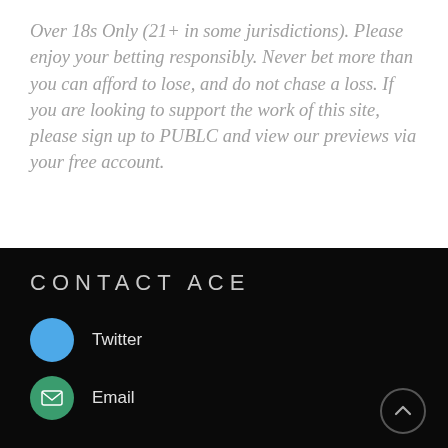Over 18s Only (21+ in some jurisdictions). Please enjoy your betting responsibly. Never bet more than you can afford to lose, and do not chase a loss. If you are looking to support the work of this site, please sign up to PUBLC and view our previews via your free account.
CONTACT ACE
Twitter
Email